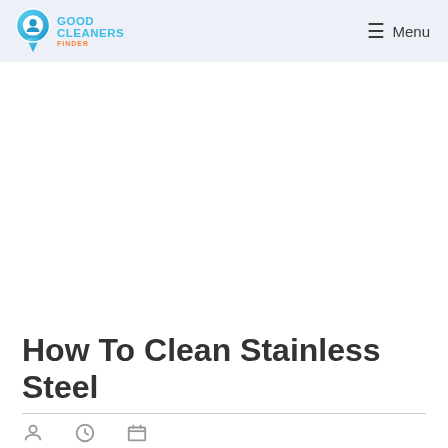Good Cleaners Finder — Menu
[Figure (other): Advertisement / blank white space area]
How To Clean Stainless Steel